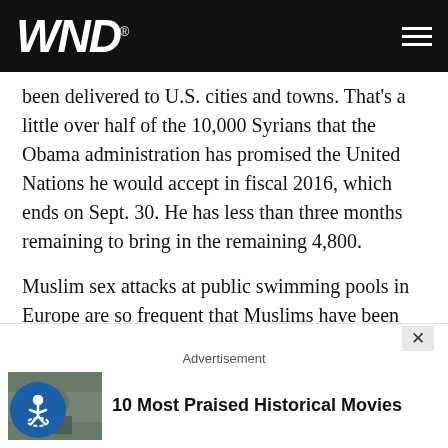WND
been delivered to U.S. cities and towns. That's a little over half of the 10,000 Syrians that the Obama administration has promised the United Nations he would accept in fiscal 2016, which ends on Sept. 30. He has less than three months remaining to bring in the remaining 4,800.
Muslim sex attacks at public swimming pools in Europe are so frequent that Muslims have been banned in multiple areas, including all of Austria
In May, a 20-year-old Afghan migrant was arrested afte
Advertisement
10 Most Praised Historical Movies